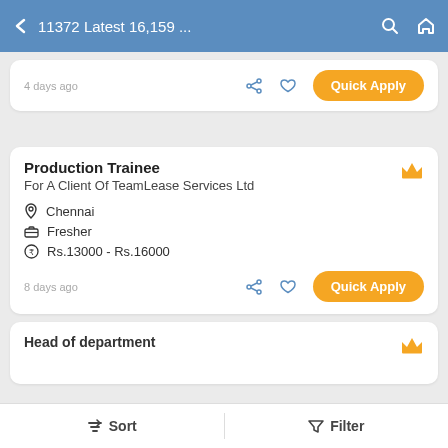← 11372 Latest 16,159 ...
4 days ago   Quick Apply
Production Trainee
For A Client Of TeamLease Services Ltd
Chennai
Fresher
Rs.13000 - Rs.16000
8 days ago   Quick Apply
Head of department
Sort   Filter